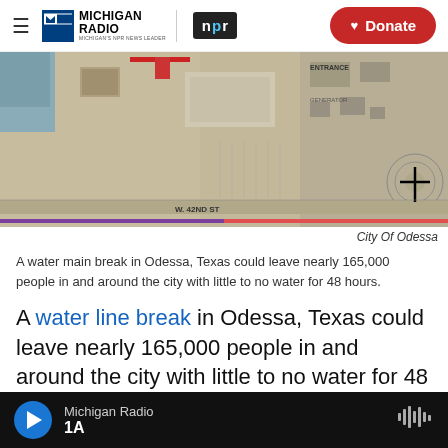Michigan Radio | NPR | Donate
[Figure (map): Satellite/aerial map image of an industrial area in Odessa, Texas showing streets including W. 42nd St, with labels for ENTRANCE and other facilities. A black crosshair marker is visible on the right side.]
City Of Odessa
A water main break in Odessa, Texas could leave nearly 165,000 people in and around the city with little to no water for 48 hours.
A water line break in Odessa, Texas could leave nearly 165,000 people in and around the city with little to no water for 48 hours, according to city officials.
Michigan Radio | 1A